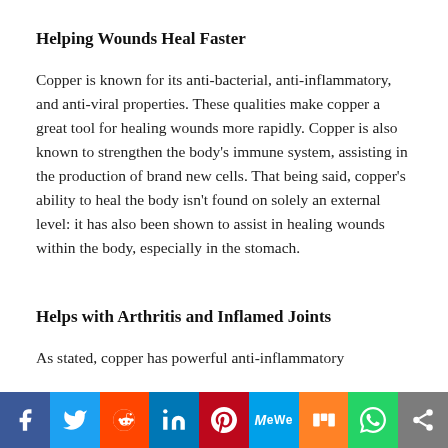Helping Wounds Heal Faster
Copper is known for its anti-bacterial, anti-inflammatory, and anti-viral properties. These qualities make copper a great tool for healing wounds more rapidly. Copper is also known to strengthen the body’s immune system, assisting in the production of brand new cells. That being said, copper’s ability to heal the body isn’t found on solely an external level: it has also been shown to assist in healing wounds within the body, especially in the stomach.
Helps with Arthritis and Inflamed Joints
As stated, copper has powerful anti-inflammatory
[Figure (infographic): Social sharing bar with buttons for Facebook, Twitter, Reddit, LinkedIn, Pinterest, MeWe, Mix, WhatsApp, and a share icon]